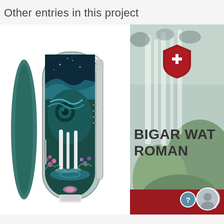Other entries in this project
[Figure (illustration): Swiss army knife with artistic waterfall and nature scene design on the blade, featuring teal/blue colors with floral elements and a fountain, shown open with multiple tools visible]
[Figure (photo): Victorinox Swiss army knife product card showing Bigar Waterfall Romania with background photo of a waterfall and mossy rocks, featuring Victorinox red shield logo with white cross, partially cropped text reading BIGAR WAT ROMAN, and a small circular avatar at bottom right with a question badge]